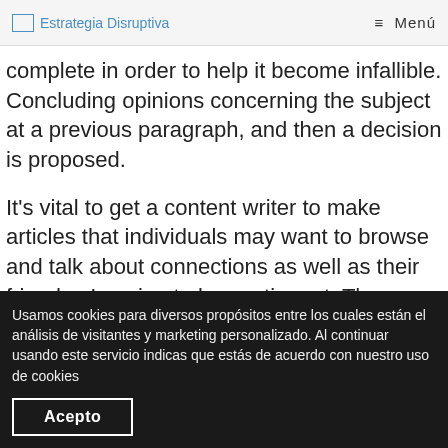Estrategia Disruptiva  ≡ Menú
complete in order to help it become infallible. Concluding opinions concerning the subject at a previous paragraph, and then a decision is proposed.
It's vital to get a content writer to make articles that individuals may want to browse and talk about connections as well as their friends . Is going to be contingent. They are inclined to choose quite a few of topics of that they truly are and try to clarify all of them. Details of certain cases ought to be contained to fortify
Usamos cookies para diversos propósitos entre los cuales están el análisis de visitantes y marketing personalizado. Al continuar usando este servicio indicas que estás de acuerdo con nuestro uso de cookies
Acepto